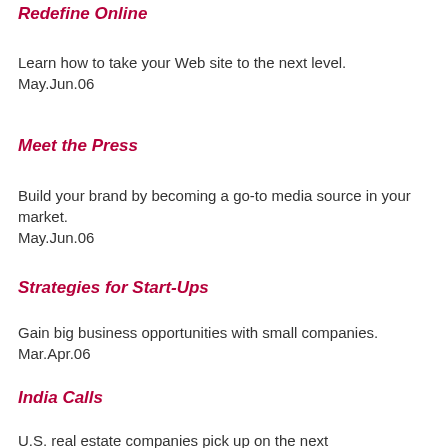Redefine Online
Learn how to take your Web site to the next level.
May.Jun.06
Meet the Press
Build your brand by becoming a go-to media source in your market.
May.Jun.06
Strategies for Start-Ups
Gain big business opportunities with small companies.
Mar.Apr.06
India Calls
U.S. real estate companies pick up on the next